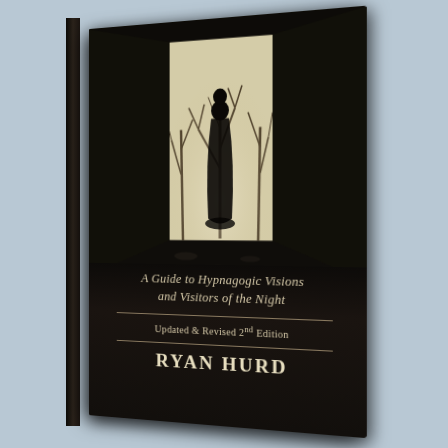[Figure (photo): Book cover of 'A Guide to Hypnagogic Visions and Visitors of the Night, Updated & Revised 2nd Edition' by Ryan Hurd. The cover shows a dark tunnel with a silhouette of a person standing at the bright end, with bare winter trees visible beyond. The book is shown at a slight perspective angle with the spine visible on the left.]